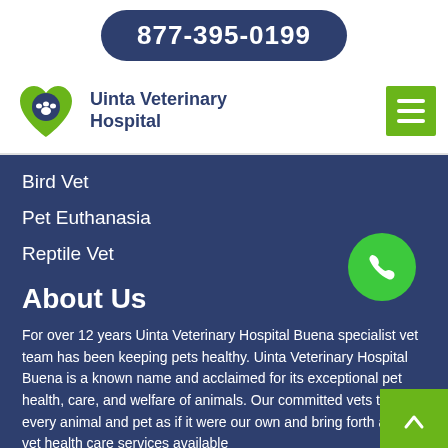877-395-0199
[Figure (logo): Uinta Veterinary Hospital logo with paw print in heart shape]
Uinta Veterinary Hospital
Bird Vet
Pet Euthanasia
Reptile Vet
About Us
For over 12 years Uinta Veterinary Hospital Buena specialist vet team has been keeping pets healthy. Uinta Veterinary Hospital Buena is a known name and acclaimed for its exceptional pet health, care, and welfare of animals. Our committed vets treat every animal and pet as if it were our own and bring forth all the vet health care services available